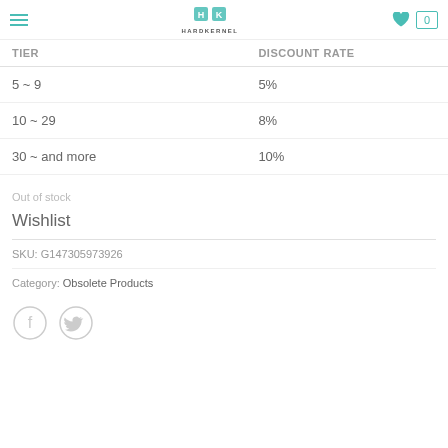HARDKERNEL
| TIER | DISCOUNT RATE |
| --- | --- |
| 5 ~ 9 | 5% |
| 10 ~ 29 | 8% |
| 30 ~ and more | 10% |
Out of stock
Wishlist
SKU: G147305973926
Category: Obsolete Products
[Figure (illustration): Facebook and Twitter social share circular icon buttons]